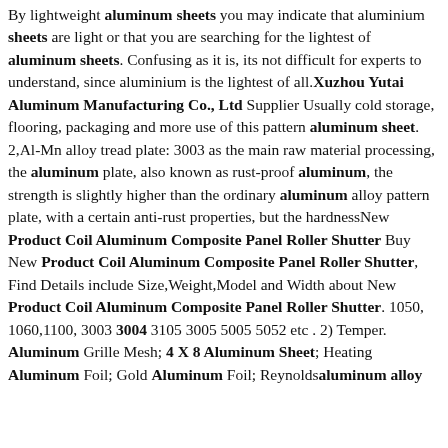By lightweight aluminum sheets you may indicate that aluminium sheets are light or that you are searching for the lightest of aluminum sheets. Confusing as it is, its not difficult for experts to understand, since aluminium is the lightest of all.Xuzhou Yutai Aluminum Manufacturing Co., Ltd Supplier Usually cold storage, flooring, packaging and more use of this pattern aluminum sheet. 2,Al-Mn alloy tread plate: 3003 as the main raw material processing, the aluminum plate, also known as rust-proof aluminum, the strength is slightly higher than the ordinary aluminum alloy pattern plate, with a certain anti-rust properties, but the hardnessNew Product Coil Aluminum Composite Panel Roller Shutter Buy New Product Coil Aluminum Composite Panel Roller Shutter, Find Details include Size,Weight,Model and Width about New Product Coil Aluminum Composite Panel Roller Shutter. 1050, 1060,1100, 3003 3004 3105 3005 5005 5052 etc . 2) Temper. Aluminum Grille Mesh; 4 X 8 Aluminum Sheet; Heating Aluminum Foil; Gold Aluminum Foil; Reynoldsaluminum alloy